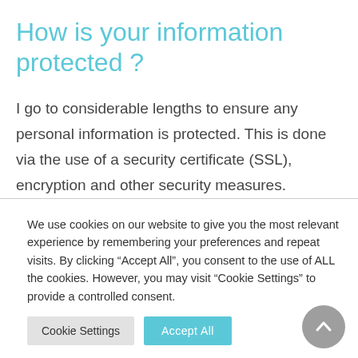How is your information protected ?
I go to considerable lengths to ensure any personal information is protected. This is done via the use of a security certificate (SSL), encryption and other security measures.
We use cookies on our website to give you the most relevant experience by remembering your preferences and repeat visits. By clicking “Accept All”, you consent to the use of ALL the cookies. However, you may visit “Cookie Settings” to provide a controlled consent.